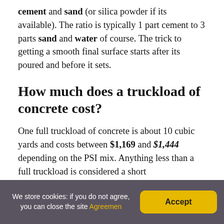cement and sand (or silica powder if its available). The ratio is typically 1 part cement to 3 parts sand and water of course. The trick to getting a smooth final surface starts after its poured and before it sets.
How much does a truckload of concrete cost?
One full truckload of concrete is about 10 cubic yards and costs between $1,169 and $1,444 depending on the PSI mix. Anything less than a full truckload is considered a short
We store cookies: if you do not agree, you can close the site Agreement